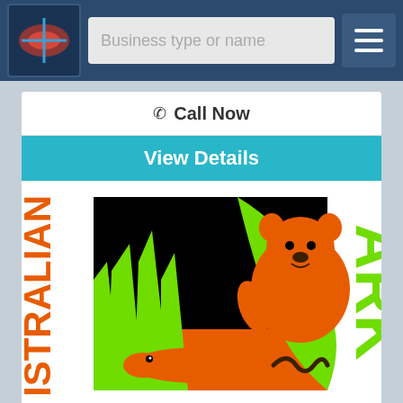Business type or name
Call Now
View Details
[Figure (logo): Australian Animal Park logo with koala and crocodile silhouettes on black background with orange and green colors. Text reads ISTRALIAN on left side and ARK on right side vertically.]
Birdland Animal Park
Batemans Bay, NSW